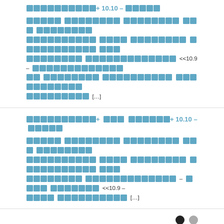[redacted title] 10.10 – [redacted] [redacted body text] <<10.9 – [redacted] [...]
[redacted title with numbers] 10.10 – [redacted] [redacted body text] – [redacted] <<10.9 – [redacted] [...]
pagination dots
Leave a Reply
Your email address will not be published. Required fields are marked *